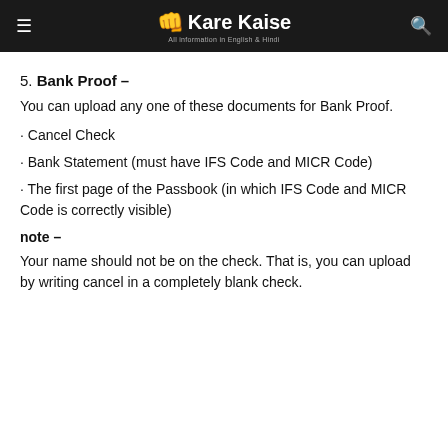Kare Kaise – All information in English & Hindi
5. Bank Proof –
You can upload any one of these documents for Bank Proof.
· Cancel Check
· Bank Statement (must have IFS Code and MICR Code)
· The first page of the Passbook (in which IFS Code and MICR Code is correctly visible)
note –
Your name should not be on the check. That is, you can upload by writing cancel in a completely blank check.